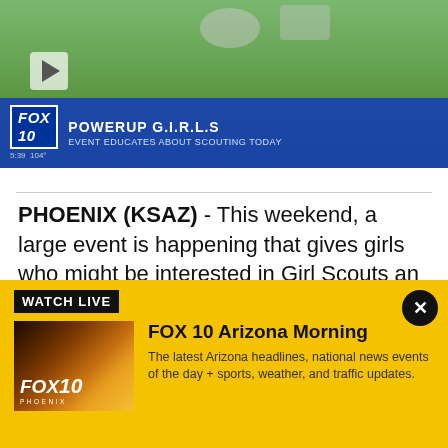[Figure (screenshot): FOX 10 news video thumbnail showing a green table with food/crafts. Lower-third graphic reads 'POWERUP G.I.R.S' with subtitle 'EVENT EDUCATES ABOUT SCOUTING TODAY'. FOX 10 logo and time 5:39 104° shown.]
PHOENIX (KSAZ) - This weekend, a large event is happening that gives girls who might be interested in Girl Scouts an opportunity to check out the organization.
"Girl Scouts has always been what it's needed to be for the times," Heather Thornton said.
[Figure (infographic): WATCH LIVE banner with yellow background. Contains FOX 10 Phoenix logo thumbnail (sunset/desert image), title 'FOX 10 Arizona Morning', description 'The latest Arizona headlines, national news events of the day + sports, weather, and traffic updates.' Close button (X) in top right corner.]